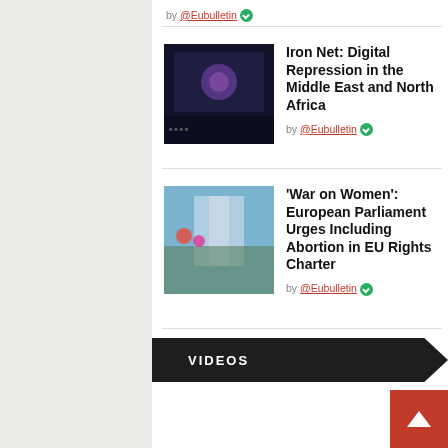by @Eubulletin [verified]
Iron Net: Digital Repression in the Middle East and North Africa
by @Eubulletin [verified]
[Figure (photo): Dark screen with digital/tech imagery]
'War on Women': European Parliament Urges Including Abortion in EU Rights Charter
by @Eubulletin [verified]
[Figure (photo): Outdoor crowd scene near Brandenburg Gate]
VIDEOS
[Figure (other): Scroll-to-top button (red arrow up)]